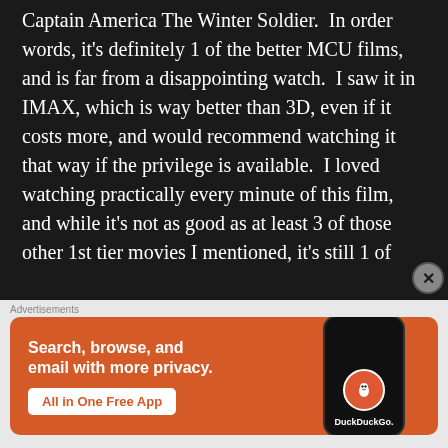Iron Man 1, Guardians Of The Galaxy & Captain America The Winter Soldier.  In order words, it's definitely 1 of the better MCU films, and is far from a disappointing watch.  I saw it in IMAX, which is way better than 3D, even if it costs more, and would recommend watching it that way if the privilege is available.  I loved watching practically every minute of this film, and while it's not as good as at least 3 of those other 1st tier movies I mentioned, it's still 1 of
[Figure (screenshot): DuckDuckGo advertisement banner with orange background. Text reads 'Search, browse, and email with more privacy. All in One Free App' with a DuckDuckGo logo on a phone graphic.]